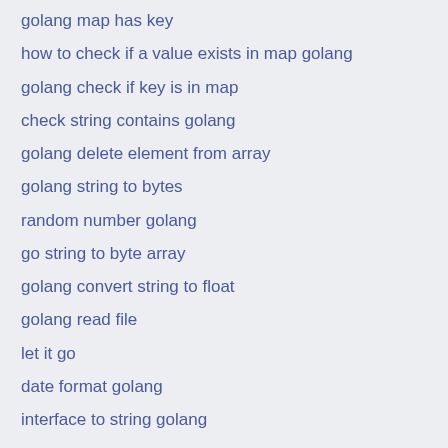golang map has key
how to check if a value exists in map golang
golang check if key is in map
check string contains golang
golang delete element from array
golang string to bytes
random number golang
go string to byte array
golang convert string to float
golang read file
let it go
date format golang
interface to string golang